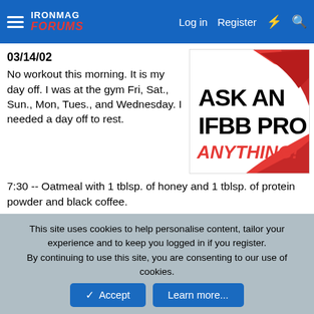IronMag Forums | Log in | Register
03/14/02
No workout this morning. It is my day off. I was at the gym Fri, Sat., Sun., Mon, Tues., and Wednesday. I needed a day off to rest.
[Figure (illustration): ASK AN IFBB PRO ANYTHING! advertisement banner with red paint brush strokes on white background]
7:30 -- Oatmeal with 1 tblsp. of honey and 1 tblsp. of protein powder and black coffee.
9:45 -- apple and water
11:20 -- 4 hydroxycut before lunch. Lunch was turkey sandwich on whole wheat bread and mustard only with water
1:30 -- rice cake with pb on it (get off of my rice cake PB...lol) and water.
3:30 -- pear and more water. I'm really trying to incorporate
This site uses cookies to help personalise content, tailor your experience and to keep you logged in if you register.
By continuing to use this site, you are consenting to our use of cookies.